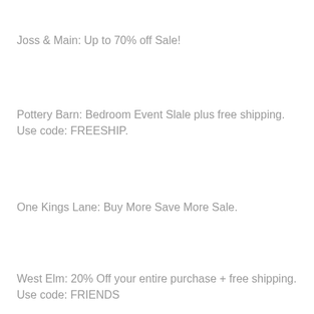Joss & Main: Up to 70% off Sale!
Pottery Barn: Bedroom Event Slale plus free shipping. Use code: FREESHIP.
One Kings Lane: Buy More Save More Sale.
West Elm: 20% Off your entire purchase + free shipping. Use code: FRIENDS